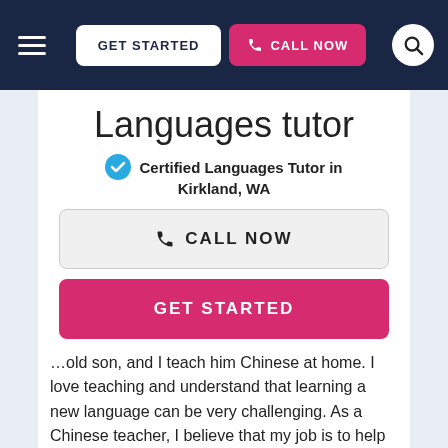GET STARTED | CALL NOW
Languages tutor
✓ Certified Languages Tutor in Kirkland, WA
CALL NOW
GET STARTED
…old son, and I teach him Chinese at home. I love teaching and understand that learning a new language can be very challenging. As a Chinese teacher, I believe that my job is to help you to pick up the language in a conversational context. Then, I help you to